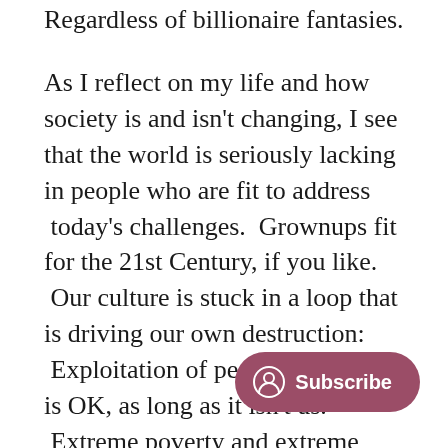Regardless of billionaire fantasies.
As I reflect on my life and how society is and isn't changing, I see that the world is seriously lacking in people who are fit to address  today's challenges.  Grownups fit for the 21st Century, if you like.  Our culture is stuck in a loop that is driving our own destruction:  Exploitation of people and nature is OK, as long as it isn't us.  Extreme poverty and extreme wealth are just the way things are.  People are inherently selfish and we are all bad inside.  This life isn't the real one – that will come after we die.  So we live lives of nihilism.  The way to handle all of the discomfort that this level of dissonance brings?  Why, consum…  More shiny things will make us feel…  A drink or 20.  A little flutter at the bookies.  Watch TV.